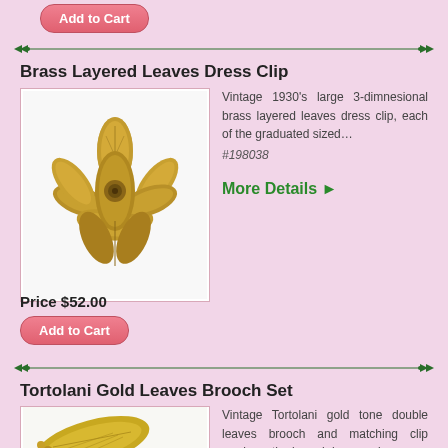Add to Cart
[Figure (other): Decorative horizontal divider with dark green arrows pointing inward on both ends]
Brass Layered Leaves Dress Clip
[Figure (photo): Vintage 1930s brass layered leaves dress clip shaped like a flower with multiple graduated leaves]
Vintage 1930's large 3-dimnesional brass layered leaves dress clip, each of the graduated sized…
#198038
More Details ▶
Price $52.00
Add to Cart
[Figure (other): Decorative horizontal divider with dark green arrows pointing inward on both ends]
Tortolani Gold Leaves Brooch Set
[Figure (photo): Vintage Tortolani gold tone brooch showing double leaves design, partial view]
Vintage Tortolani gold tone double leaves brooch and matching clip earrings; the brooch has a pair…
#1111142